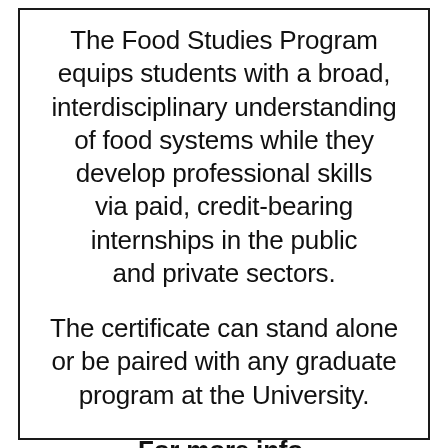The Food Studies Program equips students with a broad, interdisciplinary understanding of food systems while they develop professional skills via paid, credit-bearing internships in the public and private sectors.
The certificate can stand alone or be paired with any graduate program at the University.
For more info, visit usm.maine.edu/fs